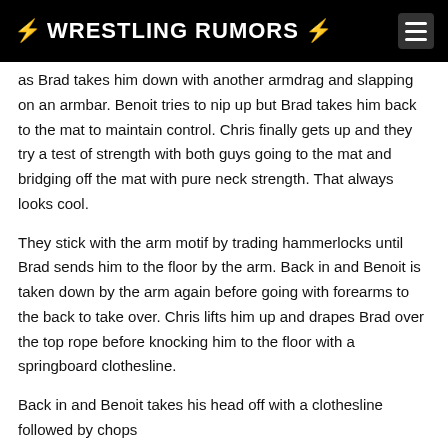⚡ WRESTLING RUMORS ⚡
as Brad takes him down with another armdrag and slapping on an armbar. Benoit tries to nip up but Brad takes him back to the mat to maintain control. Chris finally gets up and they try a test of strength with both guys going to the mat and bridging off the mat with pure neck strength. That always looks cool.
They stick with the arm motif by trading hammerlocks until Brad sends him to the floor by the arm. Back in and Benoit is taken down by the arm again before going with forearms to the back to take over. Chris lifts him up and drapes Brad over the top rope before knocking him to the floor with a springboard clothesline.
Back in and Benoit takes his head off with a clothesline followed by chops